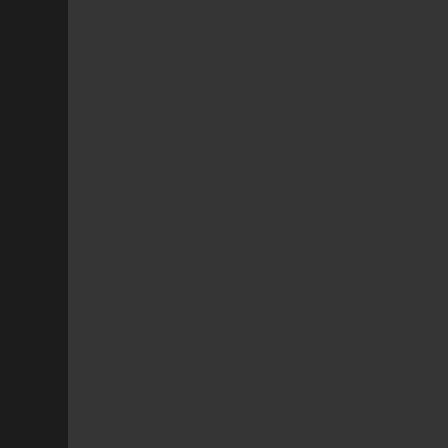Large numbers of wars are generated because of aggressive wars you have you could alliance and winning. In order for a limit between actual declared wars and "lega
It should be noted that alliances have n alliances with huge numbers of wars wa
The reason why highsec PVP alliances because the Inferno war mechanics ren PVPer.
Previously being in a corp meant wars a and could not declare war instantly. Bei limited in quantity and could declare wa
Currently if you're in a corporation your and in multiple is prohibitively expensive than remaining independent. The larg otherwise they lose members to their co
If you want a system involving in limit to
Corporations are limited to 10 aggressiv "Legacy" wars and don't count towards